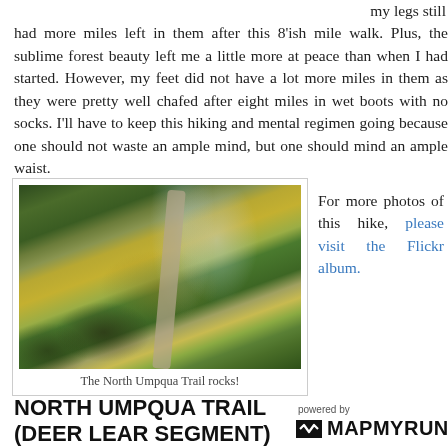my legs still had more miles left in them after this 8'ish mile walk. Plus, the sublime forest beauty left me a little more at peace than when I had started. However, my feet did not have a lot more miles in them as they were pretty well chafed after eight miles in wet boots with no socks. I'll have to keep this hiking and mental regimen going because one should not waste an ample mind, but one should mind an ample waist.
[Figure (photo): Mossy rocks and tall trees along the North Umpqua Trail in a forest setting]
The North Umpqua Trail rocks!
For more photos of this hike, please visit the Flickr album.
NORTH UMPQUA TRAIL (DEER LEAR SEGMENT)